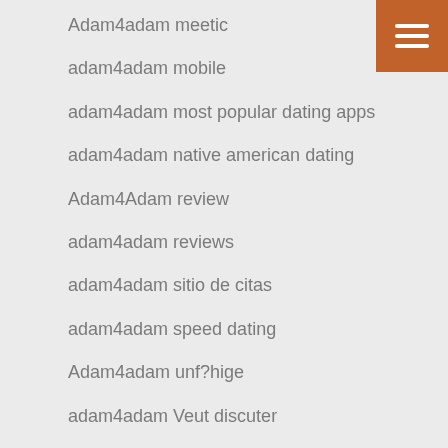Adam4adam meetic
adam4adam mobile
adam4adam most popular dating apps
adam4adam native american dating
Adam4Adam review
adam4adam reviews
adam4adam sitio de citas
adam4adam speed dating
Adam4adam unf?hige
adam4adam Veut discuter
adam4adam visitors
adam4adam-overzicht Dating
adam4adam-overzicht MOBIELE SITE